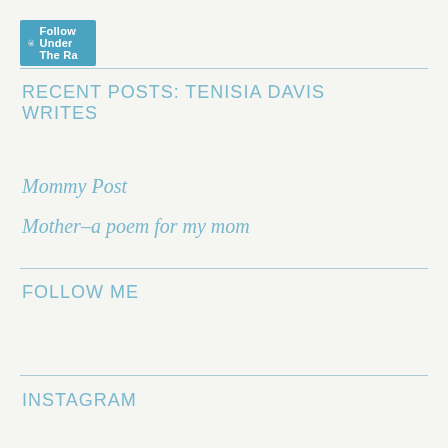[Figure (screenshot): WordPress Follow button with icon reading 'Follow Under The Ra']
RECENT POSTS: TENISIA DAVIS WRITES
Mommy Post
Mother–a poem for my mom
FOLLOW ME
INSTAGRAM